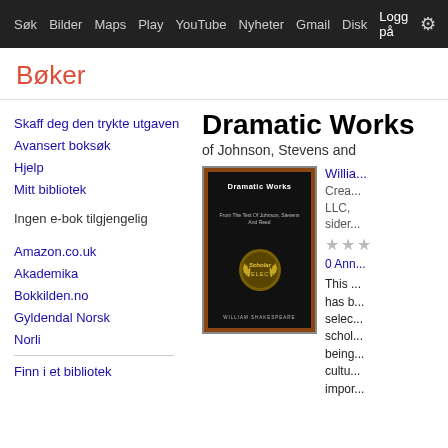Søk  Bilder  Maps  Play  YouTube  Nyheter  Gmail  Disk  Logg på  ⚙
Bøker
Skaff deg den trykte utgaven
Avansert boksøk
Hjelp
Mitt bibliotek
Ingen e-bok tilgjengelig
Amazon.co.uk
Akademika
Bokkilden.no
Gyldendal Norsk
Norli
Finn i et bibliotek
Dramatic Works
of Johnson, Stevens and
[Figure (photo): Book cover of Dramatic Works - Scholar Select edition, black cover with golden laurel wreath seal, author William Shakespeare at bottom]
Willia...
Crea... LLC, ... sider...
★★★
0 Ann...
This ... has b... selec... schol... being... cultu... impor...